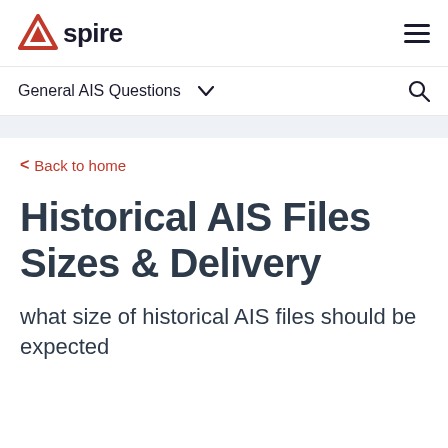Aspire | General AIS Questions
< Back to home
Historical AIS Files Sizes & Delivery
what size of historical AIS files should be expected